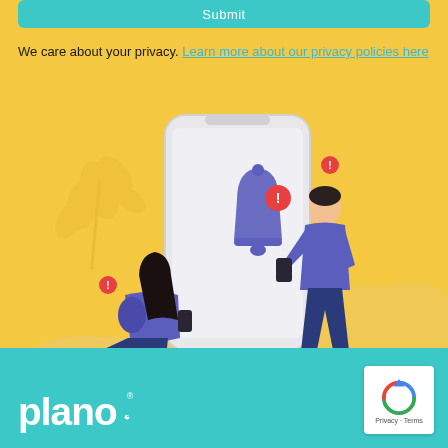Submit
We care about your privacy. Learn more about our privacy policies here
[Figure (illustration): Illustration of two people looking at a large smartphone with a notification bell and alert icons, surrounded by leaves and cloud shapes on a yellow background]
[Figure (logo): Plano logo in white on teal background, bottom left]
[Figure (other): reCAPTCHA badge with Privacy and Terms text, bottom right]